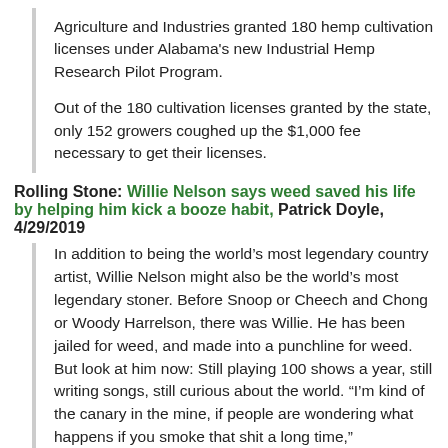Agriculture and Industries granted 180 hemp cultivation licenses under Alabama's new Industrial Hemp Research Pilot Program.
Out of the 180 cultivation licenses granted by the state, only 152 growers coughed up the $1,000 fee necessary to get their licenses.
Rolling Stone: Willie Nelson says weed saved his life by helping him kick a booze habit, Patrick Doyle, 4/29/2019
In addition to being the world's most legendary country artist, Willie Nelson might also be the world's most legendary stoner. Before Snoop or Cheech and Chong or Woody Harrelson, there was Willie. He has been jailed for weed, and made into a punchline for weed. But look at him now: Still playing 100 shows a year, still writing songs, still curious about the world. “I’m kind of the canary in the mine, if people are wondering what happens if you smoke that shit a long time,”